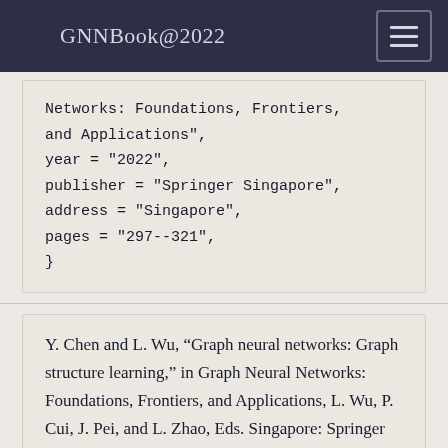GNNBook@2022
Networks: Foundations, Frontiers, and Applications",
year = "2022",
publisher = "Springer Singapore",
address = "Singapore",
pages = "297--321",
}
Y. Chen and L. Wu, “Graph neural networks: Graph structure learning,” in Graph Neural Networks: Foundations, Frontiers, and Applications, L. Wu, P. Cui, J. Pei, and L. Zhao, Eds. Singapore: Springer Singapore, 2022, pp. 297–